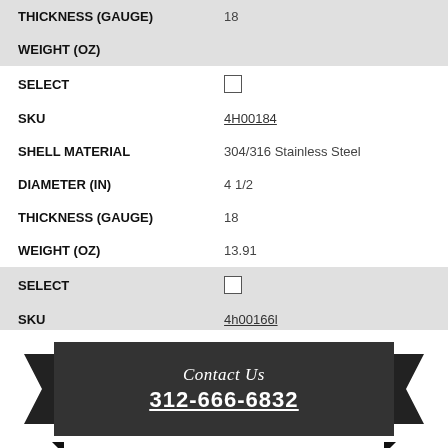| Field | Value |
| --- | --- |
| THICKNESS (GAUGE) | 18 |
| WEIGHT (OZ) |  |
| SELECT | ☐ |
| SKU | 4H00184 |
| SHELL MATERIAL | 304/316 Stainless Steel |
| DIAMETER (IN) | 4 1/2 |
| THICKNESS (GAUGE) | 18 |
| WEIGHT (OZ) | 13.91 |
| SELECT | ☐ |
| SKU | 4h00166l |
| SHELL MATERIAL | 347 Stainless Steel |
| DIAMETER (IN) | 4 1/2 |
[Figure (infographic): Dark ribbon banner with 'Contact Us' in italic script and phone number 312-666-6832 underlined in white bold text on dark gray background with decorative ribbon/arrow sides]